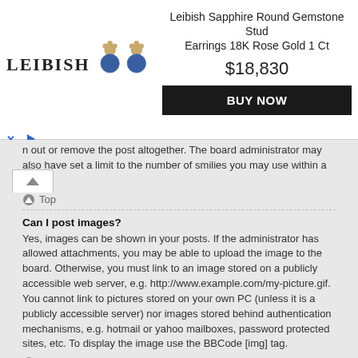[Figure (other): Advertisement banner for Leibish Sapphire Round Gemstone Stud Earrings 18K Rose Gold 1 Ct, showing LEIBISH logo, earring product image, price $18,830, and BUY NOW button]
n out or remove the post altogether. The board administrator may also have set a limit to the number of smilies you may use within a post.
Top
Can I post images?
Yes, images can be shown in your posts. If the administrator has allowed attachments, you may be able to upload the image to the board. Otherwise, you must link to an image stored on a publicly accessible web server, e.g. http://www.example.com/my-picture.gif. You cannot link to pictures stored on your own PC (unless it is a publicly accessible server) nor images stored behind authentication mechanisms, e.g. hotmail or yahoo mailboxes, password protected sites, etc. To display the image use the BBCode [img] tag.
Top
What are global announcements?
Global announcements contain important information and you should read them whenever possible. They will appear at the top of every forum and within your User Control Panel. Global announcement permissions are granted by